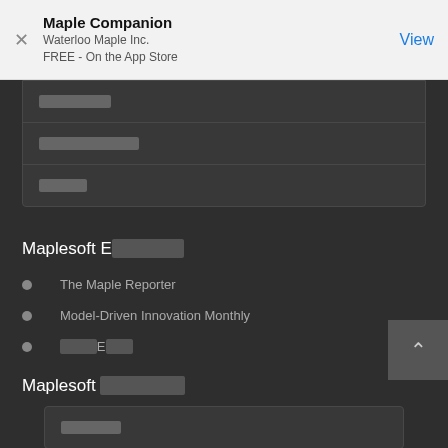[Figure (screenshot): App Store banner for Maple Companion by Waterloo Maple Inc., FREE on the App Store, with a View button]
░░░░░░░ (menu item with placeholder text)
░░░░ & ░░░░░ (menu item with placeholder text)
░░░░ (menu item with placeholder text)
Maplesoft E░░░░░░░
The Maple Reporter
Model-Driven Innovation Monthly
░░░░E░░░
Maplesoft ░░░░░░░
░░░░░░ (partial menu item at bottom)